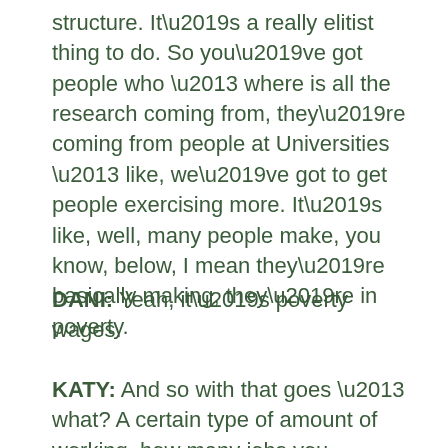structure. It’s a really elitist thing to do. So you’ve got people who – where is all the research coming from, they’re coming from people at Universities – like, we’ve got to get people exercising more. It’s like, well, many people make, you know, below, I mean they’re basically making, they’re in poverty.
DANI: Yeah, it’s poverty wages.
KATY: And so with that goes – what? A certain type of amount of working, how many jobs you